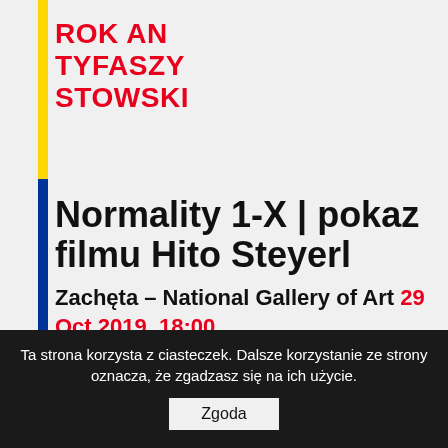ROK AN TYFASZY STOWSKI
Normality 1-X | pokaz filmu Hito Steyerl
Zachęta – National Gallery of Art 29 Oct 2019, 18:00
Resistance to the political change which took place in Austria in the year 2000, even when coming from members of the alleged opposition, is repeatedly dismissed as
Ta strona korzysta z ciasteczek. Dalsze korzystanie ze strony oznacza, że zgadzasz się na ich użycie.
Zgoda